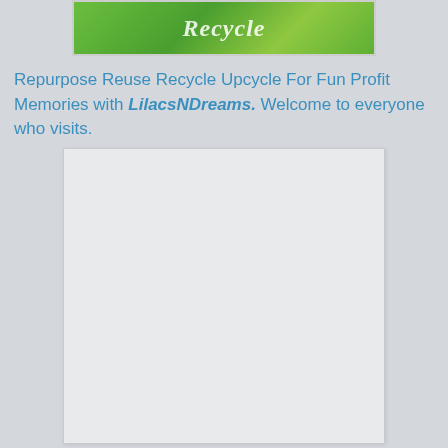[Figure (illustration): Green banner with cursive white text reading 'Recycle', styled with a green leafy gradient background]
Repurpose Reuse Recycle Upcycle For Fun Profit Memories with LilacsNDreams. Welcome to everyone who visits.
[Figure (other): A blank light gray rectangle, likely a placeholder for an image]